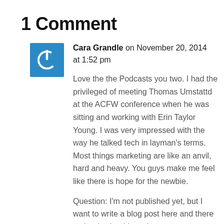1 Comment
[Figure (illustration): Blue square avatar icon with a white power button symbol]
Cara Grandle on November 20, 2014 at 1:52 pm
Love the the Podcasts you two. I had the privileged of meeting Thomas Umstattd at the ACFW conference when he was sitting and working with Erin Taylor Young. I was very impressed with the way he talked tech in layman's terms. Most things marketing are like an anvil, hard and heavy. You guys make me feel like there is hope for the newbie.
Question: I'm not published yet, but I want to write a blog post here and there on books that I love that